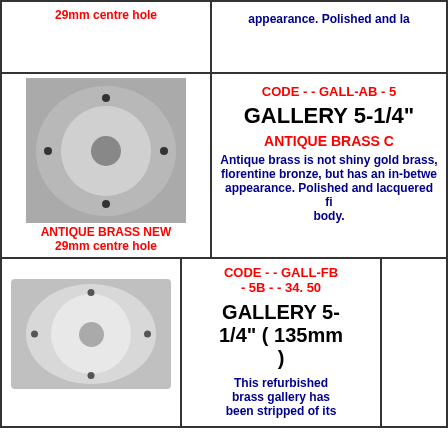29mm centre hole
appearance. Polished and l...
[Figure (photo): Antique brass gallery disc viewed from above, showing circular form with holes]
ANTIQUE BRASS NEW
29mm centre hole
CODE - - GALL-AB - 5
GALLERY 5-1/4"
ANTIQUE BRASS C
Antique brass is not shiny gold brass, florentine bronze, but has an in-between appearance. Polished and lacquered fi... body.
CODE - - GALL-FB - 5B - - 34. 50
GALLERY 5-1/4" ( 135mm )
[Figure (photo): Refurbished brass gallery disc viewed from above, shiny silver/chrome appearance with holes]
This refurbished brass gallery has been stripped of its lacquered finish...